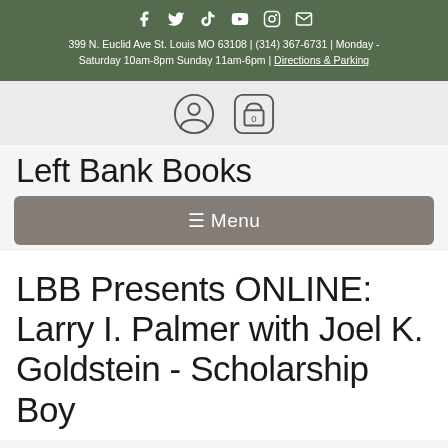399 N. Euclid Ave St. Louis MO 63108 | (314) 367-6731 | Monday - Saturday 10am-8pm Sunday 11am-6pm | Directions & Parking
Left Bank Books
☰ Menu
LBB Presents ONLINE: Larry I. Palmer with Joel K. Goldstein - Scholarship Boy